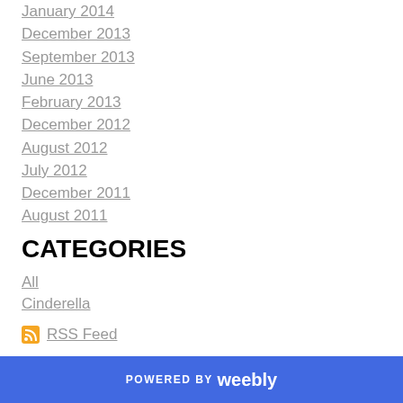January 2014
December 2013
September 2013
June 2013
February 2013
December 2012
August 2012
July 2012
December 2011
August 2011
CATEGORIES
All
Cinderella
RSS Feed
POWERED BY weebly